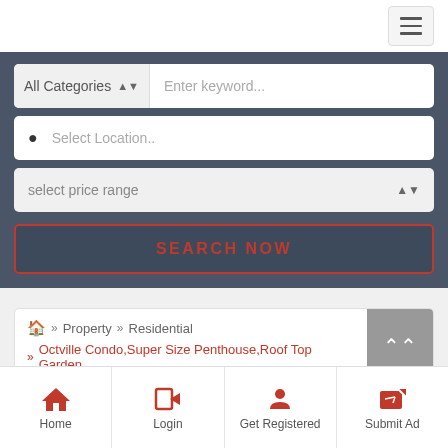[Figure (screenshot): Hamburger menu button in top right corner]
All Categories
Enter keyword...
Select Location..
select price range
SEARCH NOW
» Property » Residential
» Octville Condo,Super Size Penthouse,Roof Top Garden
Home
Login
Get Registered
Submit Ad